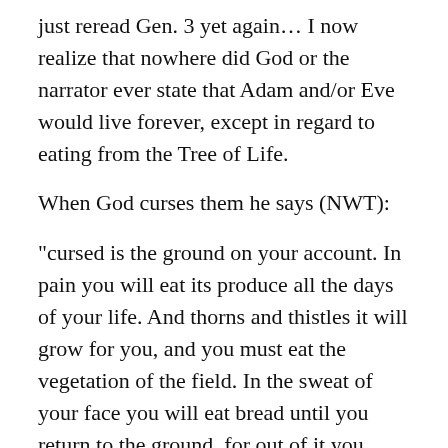just reread Gen. 3 yet again… I now realize that nowhere did God or the narrator ever state that Adam and/or Eve would live forever, except in regard to eating from the Tree of Life.
When God curses them he says (NWT):
“cursed is the ground on your account. In pain you will eat its produce all the days of your life. And thorns and thistles it will grow for you, and you must eat the vegetation of the field. In the sweat of your face you will eat bread until you return to the ground, for out of it you were taken. For dust you are and to dust you will return.” …